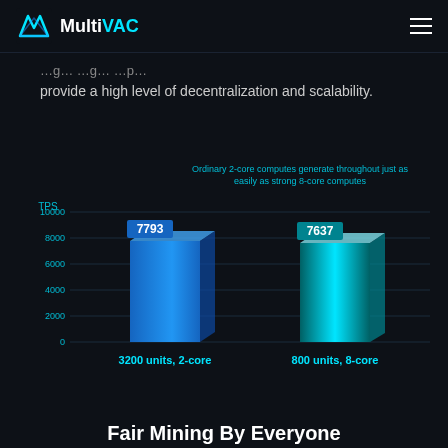MultiVAC
provide a high level of decentralization and scalability.
[Figure (bar-chart): Ordinary 2-core computes generate throughout just as easily as strong 8-core computes]
Fair Mining By Everyone
Reduce the miner threshold and everyone can join the network easily. Without any special